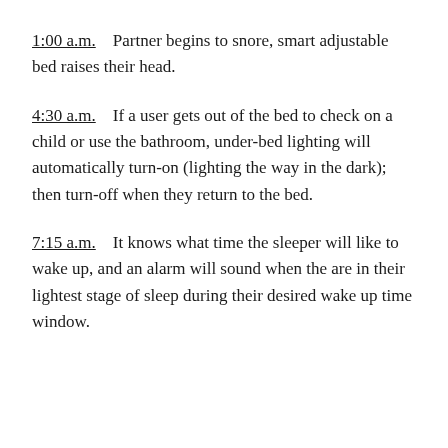1:00 a.m.   Partner begins to snore, smart adjustable bed raises their head.
4:30 a.m.   If a user gets out of the bed to check on a child or use the bathroom, under-bed lighting will automatically turn-on (lighting the way in the dark); then turn-off when they return to the bed.
7:15 a.m.   It knows what time the sleeper will like to wake up, and an alarm will sound when the are in their lightest stage of sleep during their desired wake up time window.